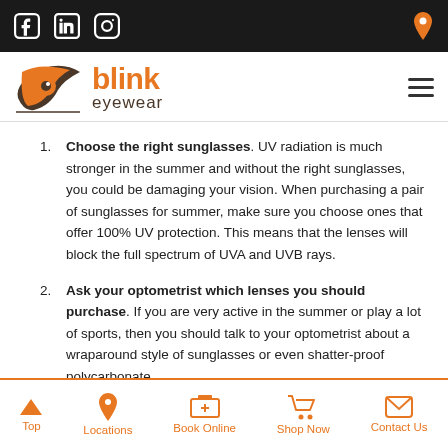Blink Eyewear - social media icons and location pin in top bar
[Figure (logo): Blink Eyewear logo with orange eye graphic and text 'blink eyewear']
Choose the right sunglasses. UV radiation is much stronger in the summer and without the right sunglasses, you could be damaging your vision. When purchasing a pair of sunglasses for summer, make sure you choose ones that offer 100% UV protection. This means that the lenses will block the full spectrum of UVA and UVB rays.
Ask your optometrist which lenses you should purchase. If you are very active in the summer or play a lot of sports, then you should talk to your optometrist about a wraparound style of sunglasses or even shatter-proof polycarbonate
Top | Locations | Book Online | Shop Now | Contact Us